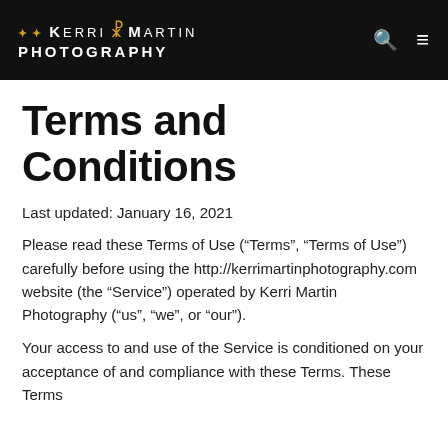Kerri Martin Photography
Terms and Conditions
Last updated: January 16, 2021
Please read these Terms of Use (“Terms”, “Terms of Use”) carefully before using the http://kerrimartinphotography.com website (the “Service”) operated by Kerri Martin Photography (“us”, “we”, or “our”).
Your access to and use of the Service is conditioned on your acceptance of and compliance with these Terms. These Terms